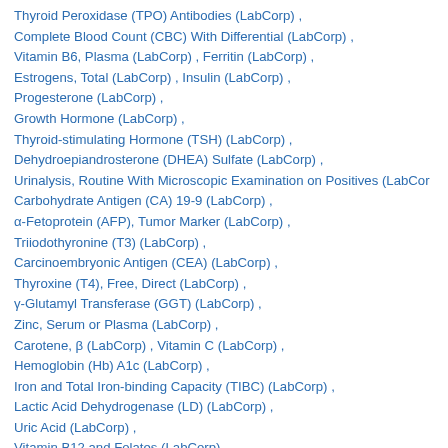Thyroid Peroxidase (TPO) Antibodies (LabCorp) ,
Complete Blood Count (CBC) With Differential (LabCorp) ,
Vitamin B6, Plasma (LabCorp) , Ferritin (LabCorp) ,
Estrogens, Total (LabCorp) , Insulin (LabCorp) ,
Progesterone (LabCorp) ,
Growth Hormone (LabCorp) ,
Thyroid-stimulating Hormone (TSH) (LabCorp) ,
Dehydroepiandrosterone (DHEA) Sulfate (LabCorp) ,
Urinalysis, Routine With Microscopic Examination on Positives (LabCorp
Carbohydrate Antigen (CA) 19-9 (LabCorp) ,
α-Fetoprotein (AFP), Tumor Marker (LabCorp) ,
Triiodothyronine (T3) (LabCorp) ,
Carcinoembryonic Antigen (CEA) (LabCorp) ,
Thyroxine (T4), Free, Direct (LabCorp) ,
γ-Glutamyl Transferase (GGT) (LabCorp) ,
Zinc, Serum or Plasma (LabCorp) ,
Carotene, β (LabCorp) , Vitamin C (LabCorp) ,
Hemoglobin (Hb) A1c (LabCorp) ,
Iron and Total Iron-binding Capacity (TIBC) (LabCorp) ,
Lactic Acid Dehydrogenase (LD) (LabCorp) ,
Uric Acid (LabCorp) ,
Vitamin B12 and Folates (LabCorp)